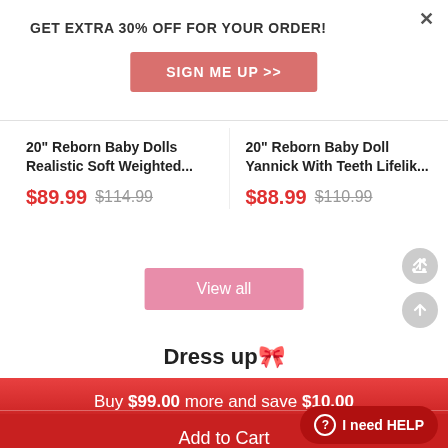GET EXTRA 30% OFF FOR YOUR ORDER!
SIGN ME UP >>
20" Reborn Baby Dolls Realistic Soft Weighted...
$89.99  $114.99
20" Reborn Baby Doll Yannick With Teeth Lifelik...
$88.99  $110.99
View all
Dress up🎀
Buy $99.00 more and save $10.00
Add to Cart
I need HELP